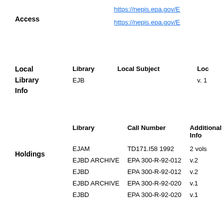Access
https://nepis.epa.gov/E
https://nepis.epa.gov/E
Local Library Info
| Library | Local Subject | Loc |
| --- | --- | --- |
| EJB |  | v. 1 |
| Library | Call Number | Additional Info |
| --- | --- | --- |
| EJAM | TD171.I58 1992 | 2 vols |
| EJBD ARCHIVE | EPA 300-R-92-012 | v.2 |
| EJBD | EPA 300-R-92-012 | v.2 |
| EJBD ARCHIVE | EPA 300-R-92-020 | v.1 |
| EJBD | EPA 300-R-92-020 | v.1 |
Holdings